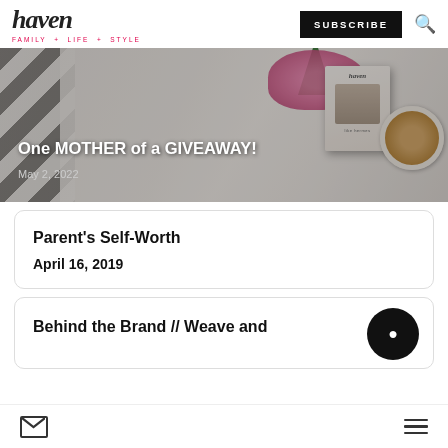haven FAMILY + LIFE + STYLE | SUBSCRIBE
[Figure (photo): Hero image showing a magazine, pink flowers, green plant, and coffee cup on white fabric background. Overlay text reads: One MOTHER of a GIVEAWAY! May 2, 2022]
One MOTHER of a GIVEAWAY!
May 2, 2022
Parent’s Self-Worth
April 16, 2019
Behind the Brand // Weave and
mail icon | hamburger menu